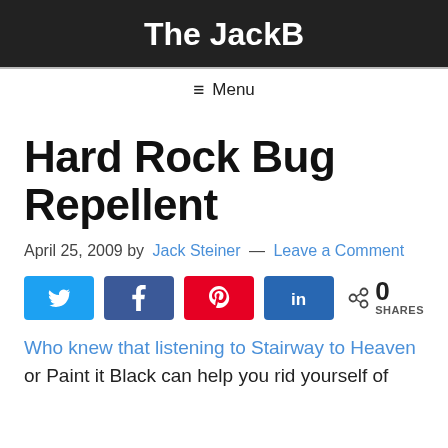The JackB
≡ Menu
Hard Rock Bug Repellent
April 25, 2009 by Jack Steiner — Leave a Comment
[Figure (infographic): Social share buttons: Twitter, Facebook, Pinterest, LinkedIn, and a share count showing 0 SHARES]
Who knew that listening to Stairway to Heaven or Paint it Black can help you rid yourself of